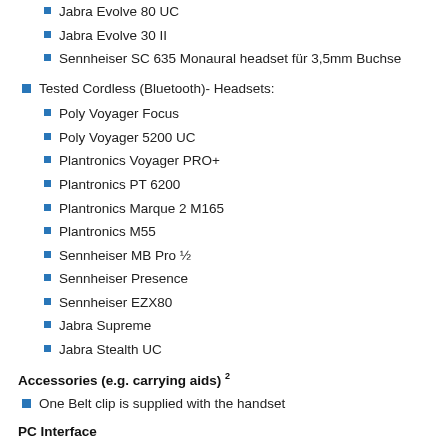Jabra Evolve 80 UC
Jabra Evolve 30 II
Sennheiser SC 635 Monaural headset für 3,5mm Buchse
Tested Cordless (Bluetooth)- Headsets:
Poly Voyager Focus
Poly Voyager 5200 UC
Plantronics Voyager PRO+
Plantronics PT 6200
Plantronics Marque 2 M165
Plantronics M55
Sennheiser MB Pro ½
Sennheiser Presence
Sennheiser EZX80
Jabra Supreme
Jabra Stealth UC
Accessories (e.g. carrying aids) 2
One Belt clip is supplied with the handset
PC Interface
Bluetooth, Mini- USB
Bluetooth Specification: V4.1
PC Application